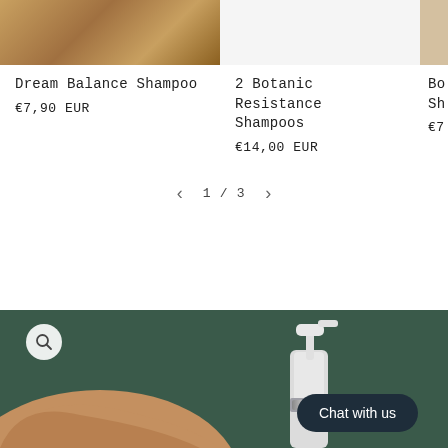[Figure (photo): Product image of Dream Balance Shampoo - warm wooden tones]
Dream Balance Shampoo
€7,90 EUR
[Figure (photo): Product image of 2 Botanic Resistance Shampoos - white background]
2 Botanic Resistance Shampoos
€14,00 EUR
[Figure (photo): Partial product image clipped at right edge - Bo... Sh...]
Bo...
Sh...
€7...
1 / 3
[Figure (photo): Dark green background with person's arm/shoulder and a pump dispenser bottle (white and chrome). A chat widget button labeled 'Chat with us' overlays the bottom right. A magnify/zoom icon button is in the top left.]